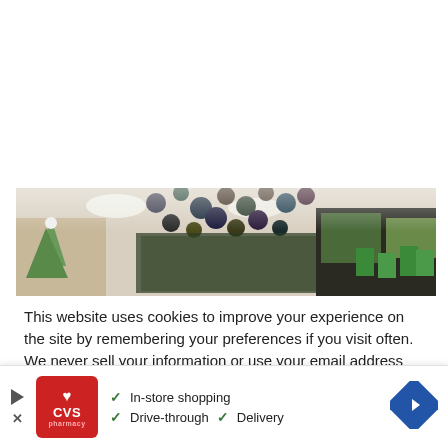[Figure (photo): A retail store interior showing Christmas decorations, ornaments, and holiday merchandise displayed on shelves and hanging from above. The image is partially cropped showing the bottom portion of the store scene.]
This website uses cookies to improve your experience on the site by remembering your preferences if you visit often. We never sell your information or use your email address for anything other than user login or our newsletter (if you sign up for it).
[Figure (screenshot): A CVS Pharmacy advertisement banner showing: CVS pharmacy logo (red background with heart), checkmarks next to 'In-store shopping', 'Drive-through', and 'Delivery', and a blue diamond-shaped navigation arrow icon on the right. Also shows a play button and X close button on the left.]